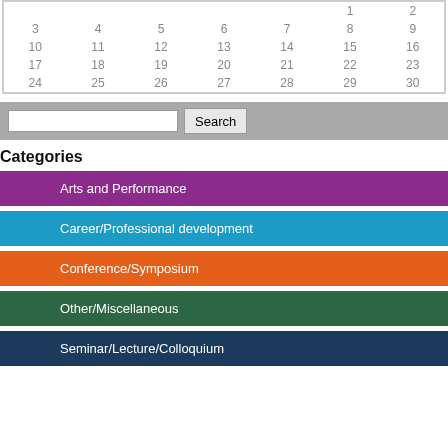|  |  |  |  |  | 1 | 2 |
| 3 | 4 | 5 | 6 | 7 | 8 | 9 |
| 10 | 11 | 12 | 13 | 14 | 15 | 16 |
| 17 | 18 | 19 | 20 | 21 | 22 | 23 |
| 24 | 25 | 26 | 27 | 28 | 29 | 30 |
Search
Categories
Arts and Performance
Career/Professional development
Conference/Symposium
Other/Miscellaneous
Seminar/Lecture/Colloquium